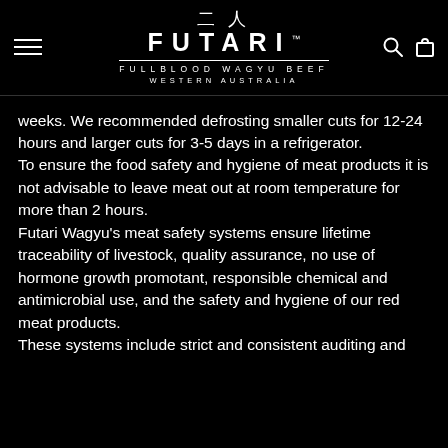[Figure (logo): Futari Fullblood Wagyu Beef Western Australia logo in white on black background, with Japanese characters above and TM symbol]
weeks. We recommended defrosting smaller cuts for 12-24 hours and larger cuts for 3-5 days in a refrigerator.
To ensure the food safety and hygiene of meat products it is not advisable to leave meat out at room temperature for more than 2 hours.
Futari Wagyu’s meat safety systems ensure lifetime traceability of livestock, quality assurance, no use of hormone growth promotant, responsible chemical and antimicrobial use, and the safety and hygiene of our red meat products.
These systems include strict and consistent auditing and